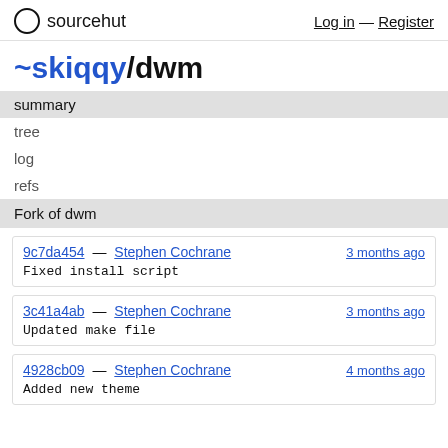sourcehut  Log in — Register
~skiqqy/dwm
summary
tree
log
refs
Fork of dwm
9c7da454 — Stephen Cochrane  3 months ago
Fixed install script
3c41a4ab — Stephen Cochrane  3 months ago
Updated make file
4928cb09 — Stephen Cochrane  4 months ago
Added new theme